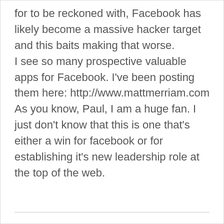for to be reckoned with, Facebook has likely become a massive hacker target and this baits making that worse. I see so many prospective valuable apps for Facebook. I've been posting them here: http://www.mattmerriam.com As you know, Paul, I am a huge fan. I just don't know that this is one that's either a win for facebook or for establishing it's new leadership role at the top of the web.